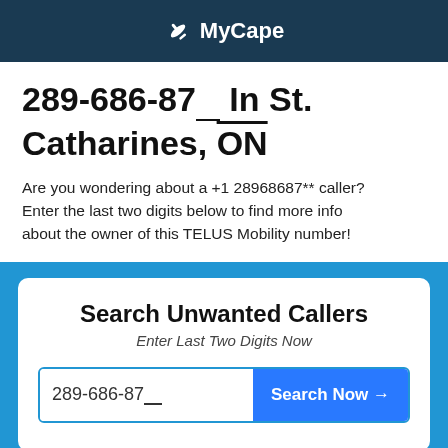✈ MyCape
289-686-87__ In St. Catharines, ON
Are you wondering about a +1 28968687** caller? Enter the last two digits below to find more info about the owner of this TELUS Mobility number!
Search Unwanted Callers
Enter Last Two Digits Now
289-686-87__ | Search Now →